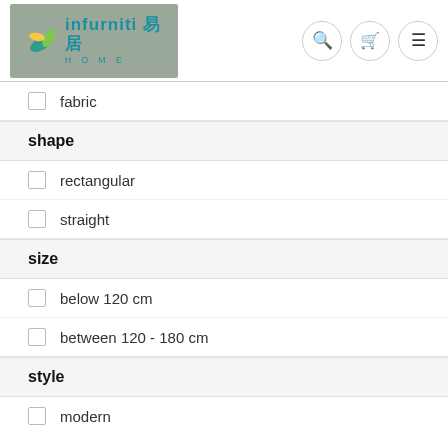[Figure (logo): Infurniti Home logo with teal text and Chinese characters on grey background]
fabric
shape
rectangular
straight
size
below 120 cm
between 120 - 180 cm
style
modern